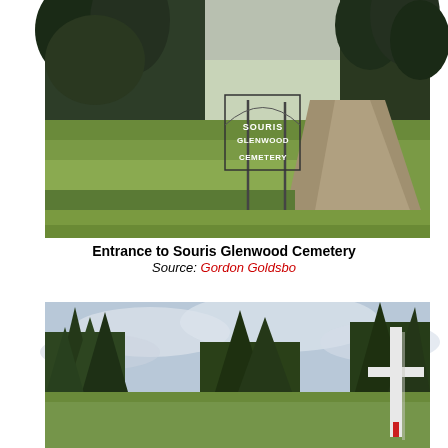[Figure (photo): Entrance to Souris Glenwood Cemetery showing a metal sign reading 'SOURIS GLENWOOD CEMETERY' in a grassy field lined with evergreen trees, with a gravel road visible to the right.]
Entrance to Souris Glenwood Cemetery
Source: Gordon Goldsborough
[Figure (photo): View inside or near Souris Glenwood Cemetery showing tall evergreen trees under a cloudy sky with a large white cross monument visible on the right side of the image.]